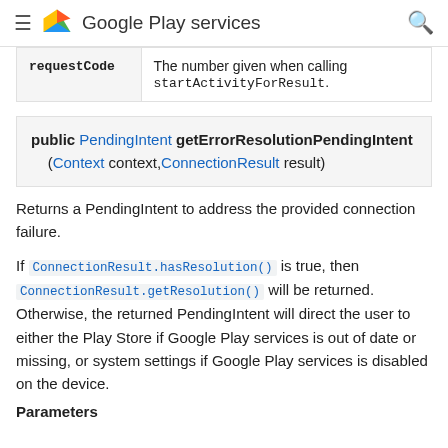Google Play services
| requestCode | Description |
| --- | --- |
| requestCode | The number given when calling startActivityForResult. |
public PendingIntent getErrorResolutionPendingIntent (Context context, ConnectionResult result)
Returns a PendingIntent to address the provided connection failure.
If ConnectionResult.hasResolution() is true, then ConnectionResult.getResolution() will be returned. Otherwise, the returned PendingIntent will direct the user to either the Play Store if Google Play services is out of date or missing, or system settings if Google Play services is disabled on the device.
Parameters